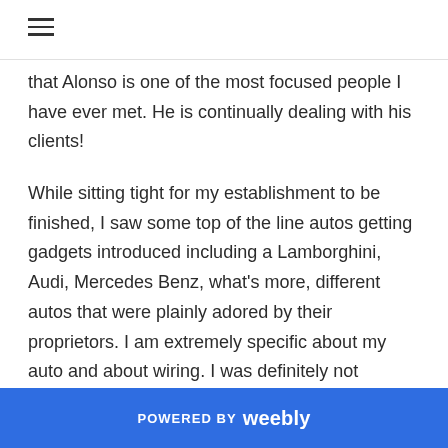≡
that Alonso is one of the most focused people I have ever met. He is continually dealing with his clients!
While sitting tight for my establishment to be finished, I saw some top of the line autos getting gadgets introduced including a Lamborghini, Audi, Mercedes Benz, what's more, different autos that were plainly adored by their proprietors. I am extremely specific about my auto and about wiring. I was definitely not disillusioned, my establishment was great. Since I have
POWERED BY weebly